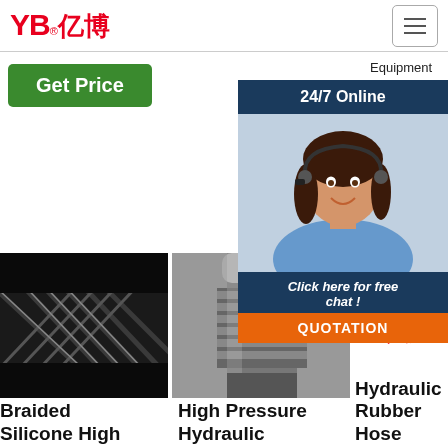[Figure (logo): YB 亿博 company logo in red with registered trademark symbol]
Equipment Technology Ltd. Alibaba
[Figure (photo): Customer service agent with headset, 24/7 Online chat overlay panel with QUOTATION button]
Get Price
24/7 Online
Click here for free chat !
QUOTATION
[Figure (photo): Close-up of braided silicone high pressure hose, black rubber texture]
[Figure (photo): High pressure hydraulic hose fitting/coupling, metallic silver]
[Figure (photo): Small hydraulic hose images with TOP badge]
Braided Silicone High
High Pressure Hydraulic
Hydraulic Rubber Hose